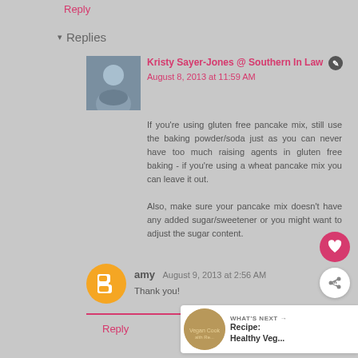Reply
▾ Replies
Kristy Sayer-Jones @ Southern In Law ✎
August 8, 2013 at 11:59 AM
If you're using gluten free pancake mix, still use the baking powder/soda just as you can never have too much raising agents in gluten free baking - if you're using a wheat pancake mix you can leave it out.

Also, make sure your pancake mix doesn't have any added sugar/sweetener or you might want to adjust the sugar content.
amy  August 9, 2013 at 2:56 AM
Thank you!
Reply